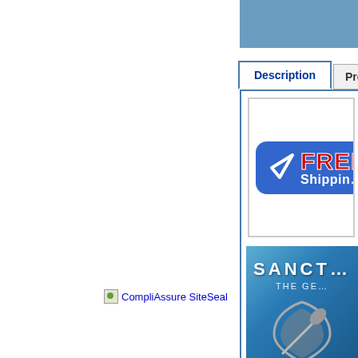[Figure (screenshot): Top blue banner strip on the right side of the page]
[Figure (screenshot): Description and Product tabs navigation area]
[Figure (logo): CompliAssure SiteSeal trust badge link on the left side]
[Figure (illustration): FREE Shipping badge - blue rounded rectangle with checkmark, red FREE text and white Shipping text]
[Figure (screenshot): Sanctuary: The Game banner with logo on blue gradient background]